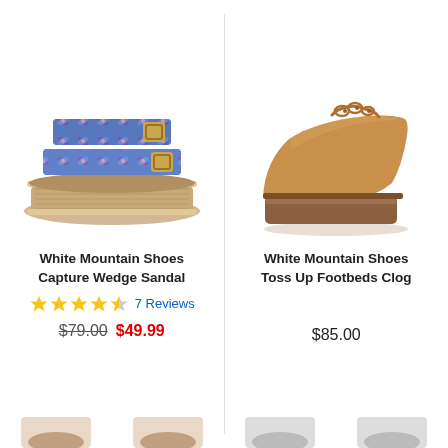[Figure (photo): White Mountain Shoes Capture Wedge Sandal - blue floral print platform espadrille slide sandal with double buckle straps]
[Figure (photo): White Mountain Shoes Toss Up Footbeds Clog - tan/cognac leather clog with wooden block heel and decorative chain detail]
White Mountain Shoes Capture Wedge Sandal
White Mountain Shoes Toss Up Footbeds Clog
★★★★½  7 Reviews
$79.00  $49.99
$85.00
[Figure (photo): Partial thumbnail images at the bottom of the page]